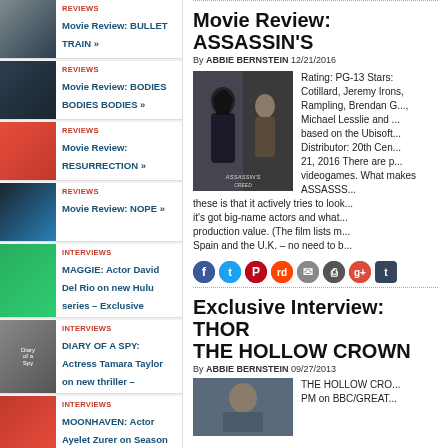REVIEWS – Movie Review: BULLET TRAIN »
REVIEWS – Movie Review: BODIES BODIES BODIES »
REVIEWS – Movie Review: RESURRECTION »
REVIEWS – Movie Review: NOPE »
INTERVIEWS – MAGGIE: Actor David Del Rio on new Hulu series – Exclusive
INTERVIEWS – DIARY OF A SPY: Actress Tamara Taylor on new thriller –
INTERVIEWS – MOONHAVEN: Actor Ayelet Zurer on Season
Movie Review: ASSASSIN'S
By ABBIE BERNSTEIN 12/21/2016
Rating: PG-13 Stars: Cotillard, Jeremy Irons, Rampling, Brendan G..., Michael Lesslie and ... based on the Ubisoft... Distributor: 20th Cen... 21, 2016 There are p... videogames. What makes ASSASSS... these is that it actively tries to look... it's got big-name actors and what... production value. (The film lists m... Spain and the U.K. – no need to b...
[Figure (photo): Assassin's Creed movie promotional image showing character in hood]
[Figure (infographic): Social sharing icons: Facebook, Twitter, Pinterest, Reddit, email, print, Google+, Tumblr]
Exclusive Interview: THOR THE HOLLOW CROWN
By ABBIE BERNSTEIN 09/27/2013
THE HOLLOW CRO... PM on BBC/GREAT...
[Figure (photo): The Hollow Crown promotional image]